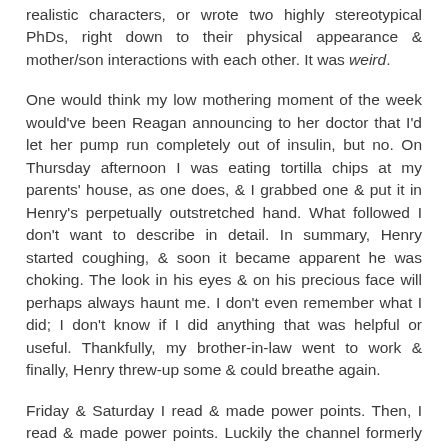realistic characters, or wrote two highly stereotypical PhDs, right down to their physical appearance & mother/son interactions with each other. It was weird.
One would think my low mothering moment of the week would've been Reagan announcing to her doctor that I'd let her pump run completely out of insulin, but no. On Thursday afternoon I was eating tortilla chips at my parents' house, as one does, & I grabbed one & put it in Henry's perpetually outstretched hand. What followed I don't want to describe in detail. In summary, Henry started coughing, & soon it became apparent he was choking. The look in his eyes & on his precious face will perhaps always haunt me. I don't even remember what I did; I don't know if I did anything that was helpful or useful. Thankfully, my brother-in-law went to work & finally, Henry threw-up some & could breathe again.
Friday & Saturday I read & made power points. Then, I read & made power points. Luckily the channel formerly known as ABC Family ran a Harry Potter marathon all weekend. Saturday was a more productive day than Friday because, at Reagan's urging, Trey & Reagan went on a date Saturday so